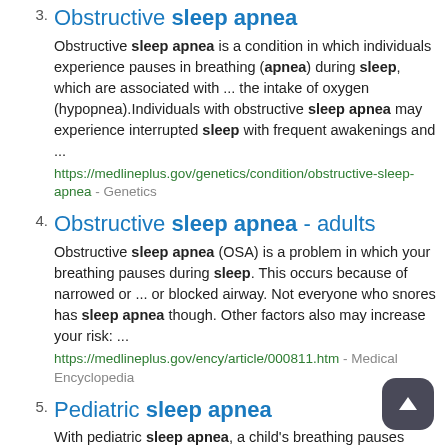3. Obstructive sleep apnea
Obstructive sleep apnea is a condition in which individuals experience pauses in breathing (apnea) during sleep, which are associated with ... the intake of oxygen (hypopnea).Individuals with obstructive sleep apnea may experience interrupted sleep with frequent awakenings and ...
https://medlineplus.gov/genetics/condition/obstructive-sleep-apnea - Genetics
4. Obstructive sleep apnea - adults
Obstructive sleep apnea (OSA) is a problem in which your breathing pauses during sleep. This occurs because of narrowed or ... or blocked airway. Not everyone who snores has sleep apnea though. Other factors also may increase your risk: ...
https://medlineplus.gov/ency/article/000811.htm - Medical Encyclopedia
5. Pediatric sleep apnea
With pediatric sleep apnea, a child's breathing pauses during sleep because the airway has become narrowed or partly blocked. ... factors that also may increase the risk of sleep apnea in children include: A small jaw Certain